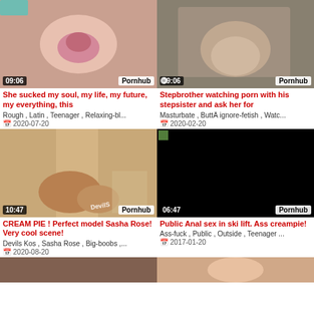[Figure (photo): Video thumbnail top-left with time badge 09:06 and Pornhub watermark]
[Figure (photo): Video thumbnail top-right with time badge 09:06 and Pornhub watermark]
She sucked my soul, my life, my future, my everything, this
Stepbrother watching porn with his stepsister and ask her for
Rough , Latin , Teenager , Relaxing-bl...
Masturbate , ButtÂ ignore-fetish , Watc...
2020-07-20
2020-02-20
[Figure (photo): Video thumbnail mid-left with time badge 10:47 and Pornhub watermark, showing Devils Kos watermark]
[Figure (photo): Video thumbnail mid-right black with time badge 06:47 and Pornhub watermark]
CREAM PIE ! Perfect model Sasha Rose! Very cool scene!
Public Anal sex in ski lift. Ass creampie!
Devils Kos , Sasha Rose , Big-boobs ,...
Ass-fuck , Public , Outside , Teenager ...
2020-08-20
2017-01-20
[Figure (photo): Partial video thumbnail bottom-left]
[Figure (photo): Partial video thumbnail bottom-right]